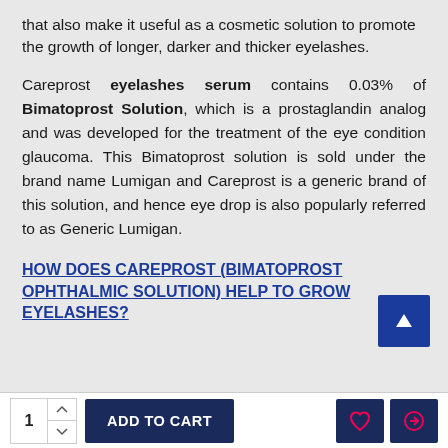that also make it useful as a cosmetic solution to promote the growth of longer, darker and thicker eyelashes.
Careprost eyelashes serum contains 0.03% of Bimatoprost Solution, which is a prostaglandin analog and was developed for the treatment of the eye condition glaucoma. This Bimatoprost solution is sold under the brand name Lumigan and Careprost is a generic brand of this solution, and hence eye drop is also popularly referred to as Generic Lumigan.
HOW DOES CAREPROST (BIMATOPROST OPHTHALMIC SOLUTION) HELP TO GROW EYELASHES?
1  ADD TO CART